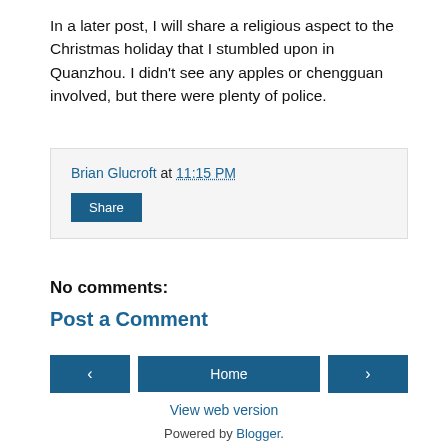In a later post, I will share a religious aspect to the Christmas holiday that I stumbled upon in Quanzhou. I didn't see any apples or chengguan involved, but there were plenty of police.
Brian Glucroft at 11:15 PM
Share
No comments:
Post a Comment
< Home > View web version
Powered by Blogger.